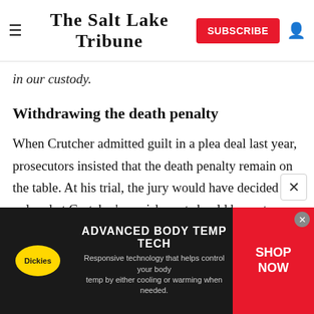The Salt Lake Tribune
in our custody.
Withdrawing the death penalty
When Crutcher admitted guilt in a plea deal last year, prosecutors insisted that the death penalty remain on the table. At his trial, the jury would have decided only what Crutcher's punishment should be, not whether he was guilty.
Daniels said he was planning to take the case to trial a
[Figure (infographic): Dickies advertisement banner: ADVANCED BODY TEMP TECH - Responsive technology that helps control your body temp by either cooling or warming when needed. SHOP NOW button in red.]